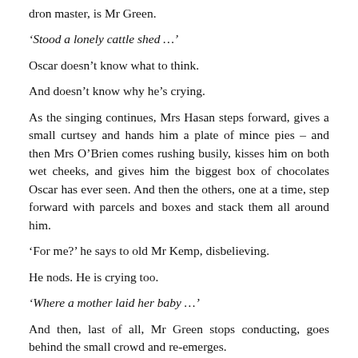dron master, is Mr Green.
‘Stood a lonely cattle shed …’
Oscar doesn’t know what to think.
And doesn’t know why he’s crying.
As the singing continues, Mrs Hasan steps forward, gives a small curtsey and hands him a plate of mince pies – and then Mrs O’Brien comes rushing busily, kisses him on both wet cheeks, and gives him the biggest box of chocolates Oscar has ever seen. And then the others, one at a time, step forward with parcels and boxes and stack them all around him.
‘For me?’ he says to old Mr Kemp, disbelieving.
He nods. He is crying too.
‘Where a mother laid her baby …’
And then, last of all, Mr Green stops conducting, goes behind the small crowd and re-emerges.
With a bicycle. Shining and new.
+
Afterwards, after the singing, they all come squeezing into